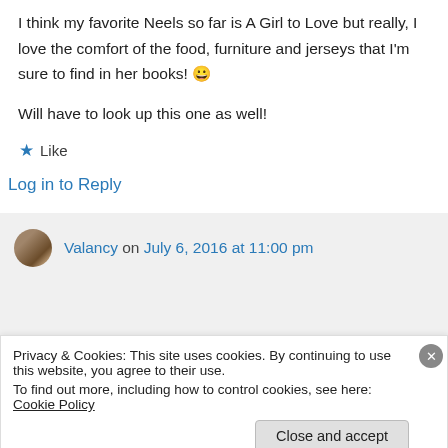I think my favorite Neels so far is A Girl to Love but really, I love the comfort of the food, furniture and jerseys that I'm sure to find in her books! 😀
Will have to look up this one as well!
★ Like
Log in to Reply
Valancy on July 6, 2016 at 11:00 pm
Privacy & Cookies: This site uses cookies. By continuing to use this website, you agree to their use.
To find out more, including how to control cookies, see here: Cookie Policy